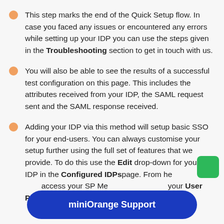This step marks the end of the Quick Setup flow. In case you faced any issues or encountered any errors while setting up your IDP you can use the steps given in the Troubleshooting section to get in touch with us.
You will also be able to see the results of a successful test configuration on this page. This includes the attributes received from your IDP, the SAML request sent and the SAML response received.
Adding your IDP via this method will setup basic SSO for your end-users. You can always customise your setup further using the full set of features that we provide. To do this use the Edit drop-down for your IDP in the Configured IDPs page. From here you can also access your SP Metadata, configure your User Profile and User Groups settings. You can read more about the
miniOrange Support